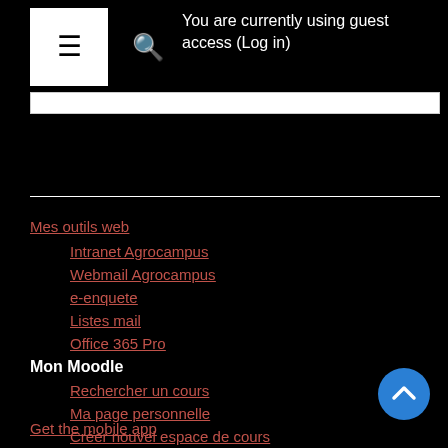You are currently using guest access (Log in)
Mes outils web
Intranet Agrocampus
Webmail Agrocampus
e-enquete
Listes mail
Office 365 Pro
Mon Moodle
Rechercher un cours
Ma page personnelle
Créer nouvel espace de cours
Guide e-agrocampus
Get the mobile app